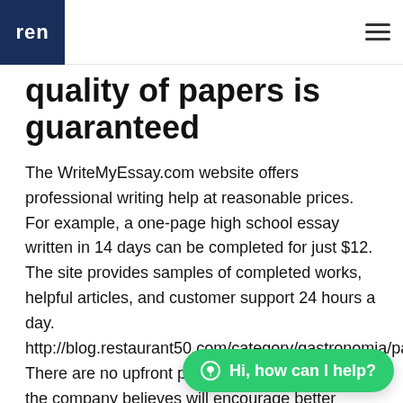ren
quality of papers is guaranteed
The WriteMyEssay.com website offers professional writing help at reasonable prices. For example, a one-page high school essay written in 14 days can be completed for just $12. The site provides samples of completed works, helpful articles, and customer support 24 hours a day. http://blog.restaurant50.com/category/gastronomia/page/11/ There are no upfront payments required, which the company believes will encourage better work. There are no hidden fees and